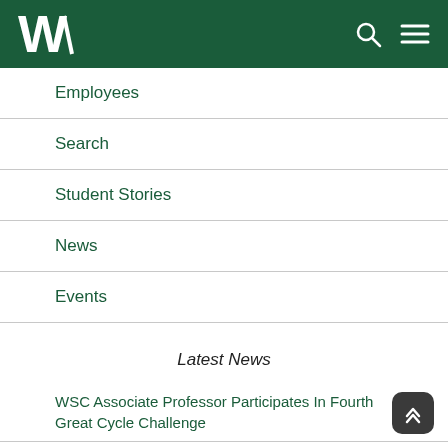WSC Logo, Search, Menu
Employees
Search
Student Stories
News
Events
Latest News
WSC Associate Professor Participates In Fourth Great Cycle Challenge
Sixth Annual Teton Welcome Week Kicks Off